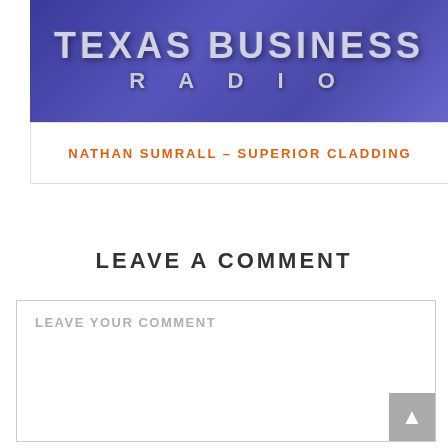[Figure (photo): Texas Business Radio logo/banner image with blue/purple background and two people in background]
NATHAN SUMRALL – SUPERIOR CLADDING
LEAVE A COMMENT
LEAVE YOUR COMMENT